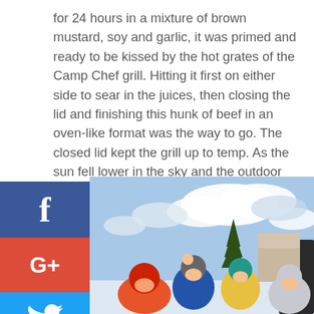for 24 hours in a mixture of brown mustard, soy and garlic, it was primed and ready to be kissed by the hot grates of the Camp Chef grill. Hitting it first on either side to sear in the juices, then closing the lid and finishing this hunk of beef in an oven-like format was the way to go. The closed lid kept the grill up to temp. As the sun fell lower in the sky and the outdoor temperature began to drop with it, having the ability to cook this way was a huge necessity.
[Figure (photo): Children in winter clothing eating or drinking snacks outdoors near a car trunk, with snowy trees and a cloudy sky in the background. Social media share buttons (Facebook, Google+, Twitter, Pinterest, Blogger, more) appear on the left side.]